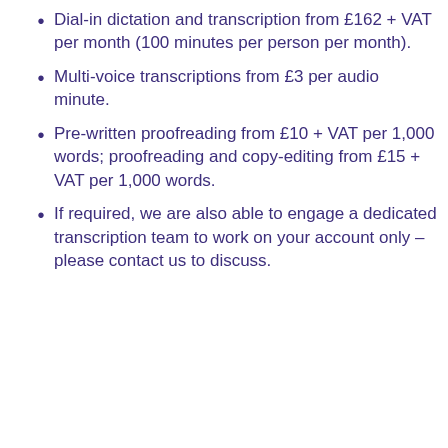Dial-in dictation and transcription from £162 + VAT per month (100 minutes per person per month).
Multi-voice transcriptions from £3 per audio minute.
Pre-written proofreading from £10 + VAT per 1,000 words; proofreading and copy-editing from £15 + VAT per 1,000 words.
If required, we are also able to engage a dedicated transcription team to work on your account only – please contact us to discuss.